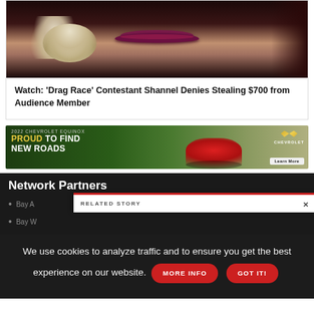[Figure (photo): Close-up photo of a person's face showing lips with dark purple/maroon lipstick and large crystal chandelier earrings, against a dark background]
Watch: 'Drag Race' Contestant Shannel Denies Stealing $700 from Audience Member
[Figure (other): Advertisement banner for 2022 Chevrolet Equinox with text 'PROUD TO FIND NEW ROADS' and a red SUV vehicle image, Chevrolet logo, and Learn More button]
Network Partners
Bay A
Bay W
RELATED STORY
We use cookies to analyze traffic and to ensure you get the best experience on our website.
MORE INFO
GOT IT!